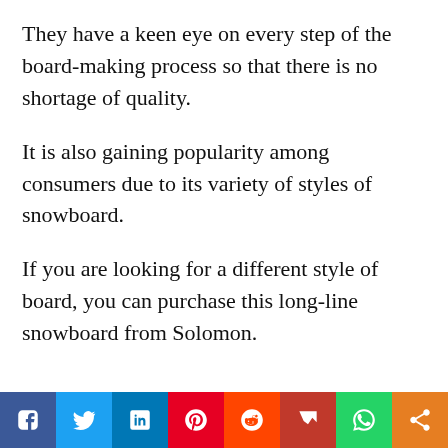They have a keen eye on every step of the board-making process so that there is no shortage of quality.
It is also gaining popularity among consumers due to its variety of styles of snowboard.
If you are looking for a different style of board, you can purchase this long-line snowboard from Solomon.
[Figure (other): Social media sharing bar with icons for Facebook, Twitter, LinkedIn, Pinterest, Reddit, Mix, WhatsApp, and Share]